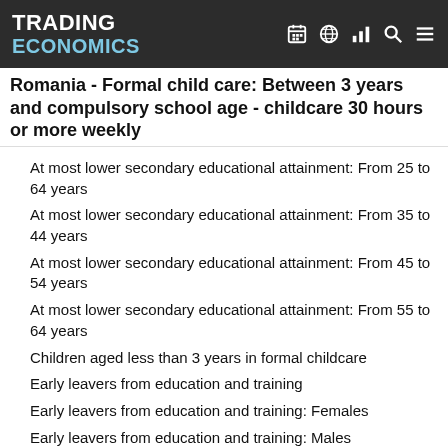TRADING ECONOMICS
Romania - Formal child care: Between 3 years and compulsory school age - childcare 30 hours or more weekly
At most lower secondary educational attainment: From 25 to 64 years
At most lower secondary educational attainment: From 35 to 44 years
At most lower secondary educational attainment: From 45 to 54 years
At most lower secondary educational attainment: From 55 to 64 years
Children aged less than 3 years in formal childcare
Early leavers from education and training
Early leavers from education and training: Females
Early leavers from education and training: Males
Employment rates of recent graduates
Employment rates of recent graduates: Females
Employment rates of recent graduates: Males
Formal child care: Between 3 years and compulsory school age - childcare 30 hours or more weekly